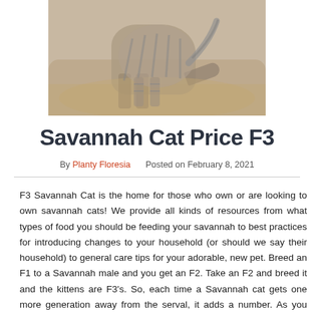[Figure (photo): A striped Savannah cat standing on a tan leather sofa, viewed from behind/side, showing striped coat and curved tail.]
Savannah Cat Price F3
By Planty Floresia   Posted on February 8, 2021
F3 Savannah Cat is the home for those who own or are looking to own savannah cats! We provide all kinds of resources from what types of food you should be feeding your savannah to best practices for introducing changes to your household (or should we say their household) to general care tips for your adorable, new pet. Breed an F1 to a Savannah male and you get an F2. Take an F2 and breed it and the kittens are F3's. So, each time a Savannah cat gets one more generation away from the serval, it adds a number. As you might